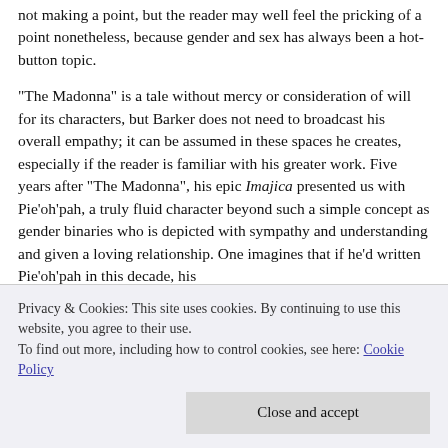not making a point, but the reader may well feel the pricking of a point nonetheless, because gender and sex has always been a hot-button topic.
“The Madonna” is a tale without mercy or consideration of will for its characters, but Barker does not need to broadcast his overall empathy; it can be assumed in these spaces he creates, especially if the reader is familiar with his greater work. Five years after “The Madonna”, his epic Imajica presented us with Pie’oh’pah, a truly fluid character beyond such a simple concept as gender binaries who is depicted with sympathy and understanding and given a loving relationship. One imagines that if he’d written Pie’oh’pah in this decade, his
Privacy & Cookies: This site uses cookies. By continuing to use this website, you agree to their use.
To find out more, including how to control cookies, see here: Cookie Policy